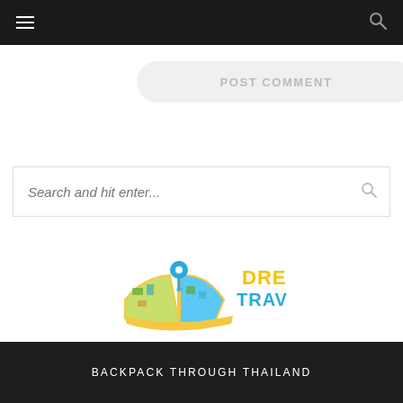Navigation bar with hamburger menu and search icon
POST COMMENT
[Figure (other): Search input box with placeholder text 'Search and hit enter...' and a search icon on the right]
[Figure (logo): Dream Travel List logo: open book with a blue map pin, yellow text 'DREAM' and blue text 'TRAVEL LIST']
BACKPACK THROUGH THAILAND